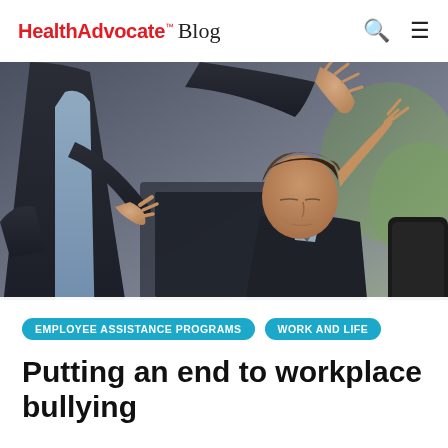HealthAdvocate Blog
[Figure (photo): A standing woman in a dark business suit gesturing aggressively with both hands toward a seated man in a dark jacket who looks down, in an office setting — depicting workplace bullying or confrontation.]
EMPLOYEE ASSISTANCE PROGRAMS
WORK AND LIFE
Putting an end to workplace bullying